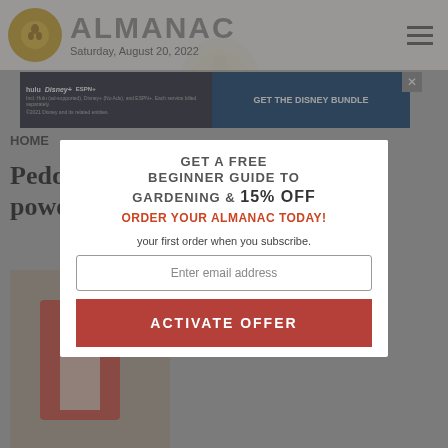ALMANAC Saturday, August 20, 2022
[Figure (screenshot): Disney Bundle advertisement banner showing Hulu, Disney+, and ESPN+ logos with text 'GET THE DISNEY BUNDLE']
HOME
Peddling “pedal powered” soap...
[Figure (photo): Partial article photo, partially obscured by popup overlay]
[Figure (screenshot): Popup modal overlay with email subscription offer: GET A FREE BEGINNER GUIDE TO GARDENING & 15% OFF ORDER YOUR ALMANAC TODAY! your first order when you subscribe. Input field: Enter email address. Button: ACTIVATE OFFER]